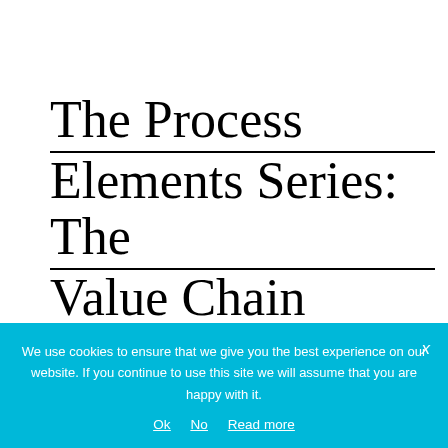The Process Elements Series: The Value Chain
[Figure (other): Partial view of a value chain diagram with boxes labeled 'employee', 'Applicant', and 'Business', each with blue triangular flags on top, partially visible at the bottom of the page before the cookie banner.]
We use cookies to ensure that we give you the best experience on our website. If you continue to use this site we will assume that you are happy with it.
Ok   No   Read more